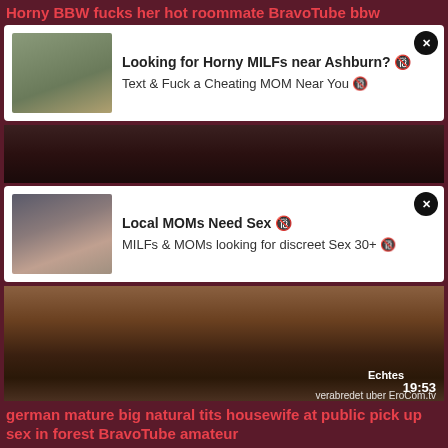Horny BBW fucks her hot roommate BravoTube bbw
[Figure (screenshot): Ad card with thumbnail of woman, text: Looking for Horny MILFs near Ashburn? Text & Fuck a Cheating MOM Near You]
[Figure (photo): Dark video still background strip]
[Figure (screenshot): Ad card with thumbnail of woman, text: Local MOMs Need Sex. MILFs & MOMs looking for discreet Sex 30+]
[Figure (photo): Dark video still with overlay text: Echtes 19:53 verabredet uber EroCom.tv]
german mature big natural tits housewife at public pick up sex in forest BravoTube amateur
6470
[Figure (photo): Dark video thumbnail showing person]